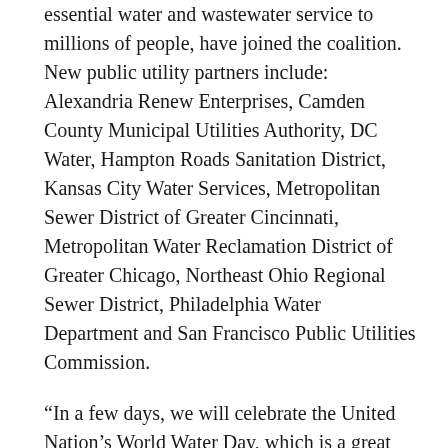essential water and wastewater service to millions of people, have joined the coalition. New public utility partners include: Alexandria Renew Enterprises, Camden County Municipal Utilities Authority, DC Water, Hampton Roads Sanitation District, Kansas City Water Services, Metropolitan Sewer District of Greater Cincinnati, Metropolitan Water Reclamation District of Greater Chicago, Northeast Ohio Regional Sewer District, Philadelphia Water Department and San Francisco Public Utilities Commission.
“In a few days, we will celebrate the United Nation’s World Water Day, which is a great reminder of how exceptional American water and wastewater service is. The public and private utilities that ensure clean, safe, reliable water to and from homes and businesses across the country are nothing short of remarkable. But utilities, as well as the systems and infrastructure